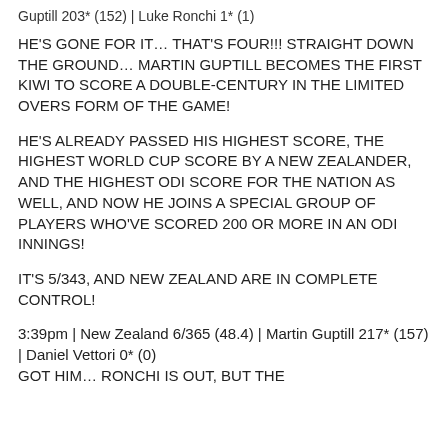Guptill 203* (152) | Luke Ronchi 1* (1)
HE'S GONE FOR IT… THAT'S FOUR!!! STRAIGHT DOWN THE GROUND… MARTIN GUPTILL BECOMES THE FIRST KIWI TO SCORE A DOUBLE-CENTURY IN THE LIMITED OVERS FORM OF THE GAME!
HE'S ALREADY PASSED HIS HIGHEST SCORE, THE HIGHEST WORLD CUP SCORE BY A NEW ZEALANDER, AND THE HIGHEST ODI SCORE FOR THE NATION AS WELL, AND NOW HE JOINS A SPECIAL GROUP OF PLAYERS WHO'VE SCORED 200 OR MORE IN AN ODI INNINGS!
IT'S 5/343, AND NEW ZEALAND ARE IN COMPLETE CONTROL!
3:39pm | New Zealand 6/365 (48.4) | Martin Guptill 217* (157) | Daniel Vettori 0* (0)
GOT HIM… RONCHI IS OUT, BUT THE